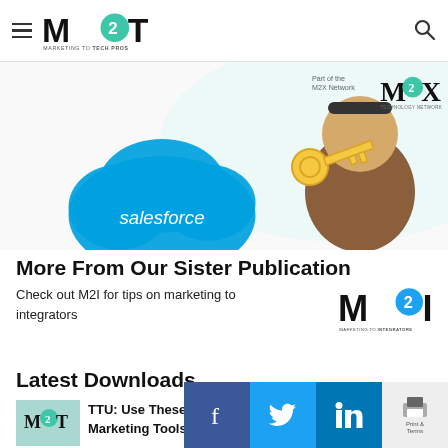M2T — Marketing to Tech Pros
[Figure (logo): M2T Marketing to Tech Pros logo with hamburger menu and search icon in header]
[Figure (photo): Salesforce advertisement banner with character holding a key]
[Figure (logo): Part of the M2X Network Technology Network badge]
More From Our Sister Publication
Check out M2I for tips on marketing to integrators
[Figure (logo): M2I Marketing to Integrators logo]
Latest Downloads
[Figure (screenshot): Download thumbnail with M2T logo on teal background]
TTU: Use These Key Co... Marketing Tools...